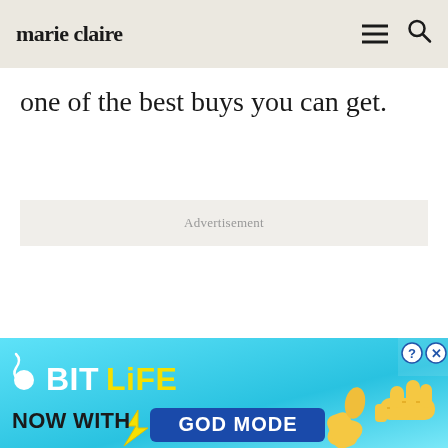marie claire
one of the best buys you can get.
Advertisement
[Figure (illustration): BitLife advertisement banner: 'NOW WITH GOD MODE' with animated hands and lightning bolt on blue background]